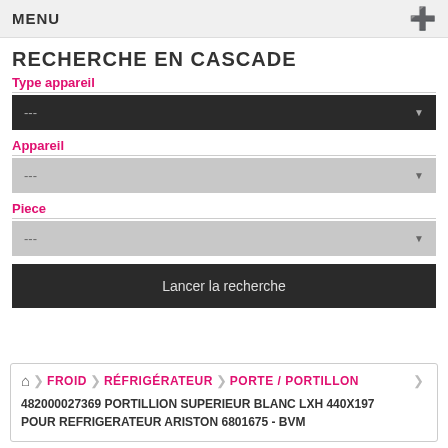MENU
RECHERCHE EN CASCADE
Type appareil
---
Appareil
---
Piece
---
Lancer la recherche
FROID › RÉFRIGÉRATEUR › PORTE / PORTILLON
482000027369 PORTILLION SUPERIEUR BLANC LXH 440X197 POUR REFRIGERATEUR ARISTON 6801675 - BVM